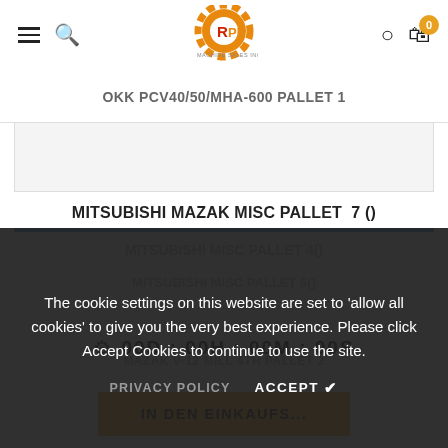[Figure (logo): ARPI Machine Sales Inc. orange gear logo with red heart detail and text]
OKK PCV40/50/MHA-600 PALLET 1
MITSUBISHI MAZAK MISC PALLET  7 ()
The cookie settings on this website are set to 'allow all cookies' to give you the very best experience. Please click Accept Cookies to continue to use the site.
PRIVACY POLICY   ACCEPT ✔
MAZAK V-12 MILL 4TH PALLET 2
00D : 00H : 00M : 00S
IN DEN EINKAUFS...